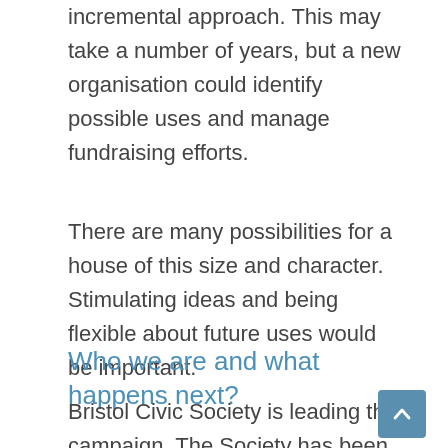incremental approach. This may take a number of years, but a new organisation could identify possible uses and manage fundraising efforts.
There are many possibilities for a house of this size and character. Stimulating ideas and being flexible about future uses would be important.
Who we are and what happens next?
Bristol Civic Society is leading this campaign. The Society has been championing the preservation of historic buildings in Bristol for over 100 years. Whilst the Society does not represent the ultimate answer for the answer for the Mansion it